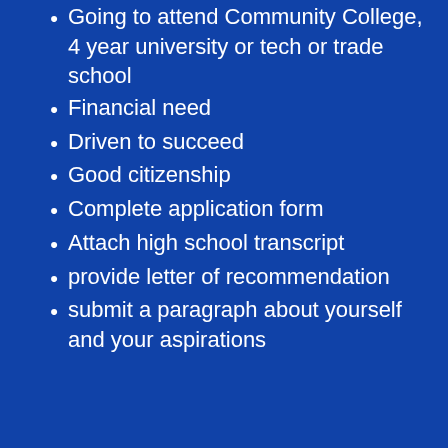Going to attend Community College, 4 year university or tech or trade school
Financial need
Driven to succeed
Good citizenship
Complete application form
Attach high school transcript
provide letter of recommendation
submit a paragraph about yourself and your aspirations